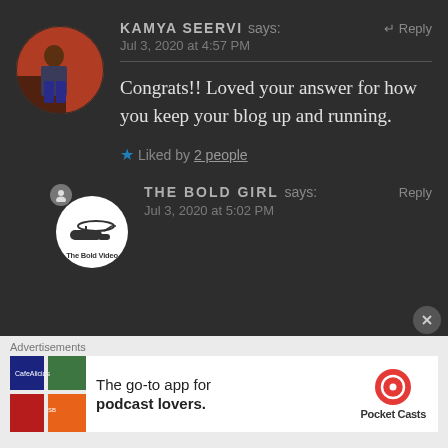KAMYA SEERVI says: ↩ Reply
Jul 3, 2020 at 4:57 PM
Congrats!! Loved your answer for how you keep your blog up and running.
★ Liked by 2 people
[Figure (photo): Circular avatar photo of Kamya Seervi, person sitting on stairs with orange wall background]
THE BOLD GIRL says: Reply
Jul 3, 2020 at 5:02 PM
[Figure (logo): The Bold Video logo - circular white background with small logo]
Advertisements
The go-to app for podcast lovers. Pocket Casts